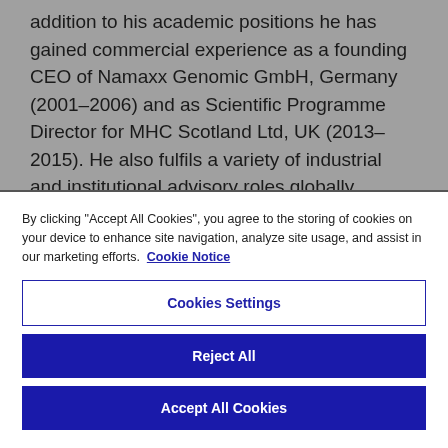addition to his academic positions he has gained commercial experience as a founding CEO of Namaxx Genomic GmbH, Germany (2001–2006) and as Scientific Programme Director for MHC Scotland Ltd, UK (2013–2015). He also fulfils a variety of industrial and institutional advisory roles globally.
By clicking "Accept All Cookies", you agree to the storing of cookies on your device to enhance site navigation, analyze site usage, and assist in our marketing efforts. Cookie Notice
Cookies Settings
Reject All
Accept All Cookies